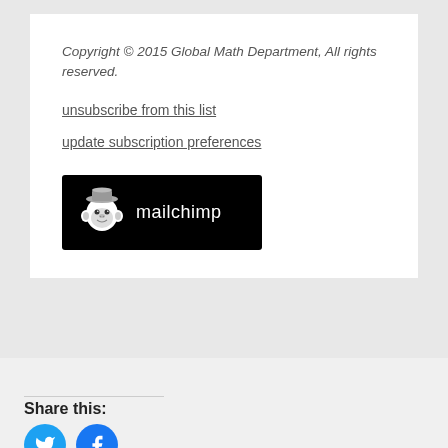Copyright © 2015 Global Math Department, All rights reserved.
unsubscribe from this list
update subscription preferences
[Figure (logo): Mailchimp logo: black background rectangle with white monkey mascot icon and 'mailchimp' text in white]
Share this:
[Figure (infographic): Twitter and Facebook circular social share buttons in cyan/blue colors]